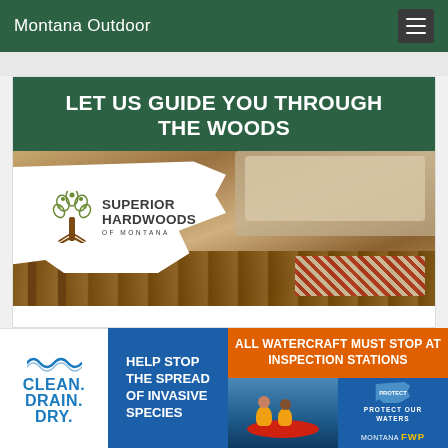Montana Outdoor
[Figure (advertisement): Superior Hardwoods of Montana advertisement with headline 'LET US GUIDE YOU THROUGH THE WOODS' over an interior photo showing hardwood flooring and furniture, with the company logo overlaid on a Montana state shape]
[Figure (infographic): Clean. Drain. Dry. invasive species awareness banner with blue text on white background]
[Figure (infographic): Blue banner: HELP STOP THE SPREAD OF INVASIVE SPECIES]
[Figure (infographic): Orange and blue banner: ALL WATERCRAFT MUST STOP AT INSPECTION STATIONS with kayak photo and Montana FWP Protect Our Waters logo]